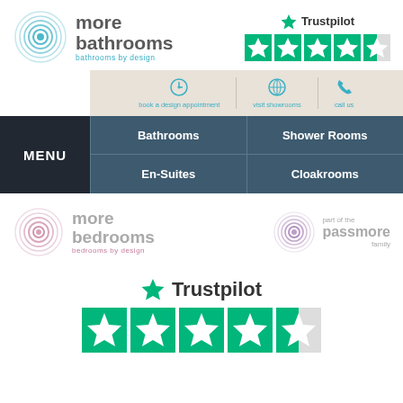[Figure (logo): More Bathrooms logo with circular concentric swirl icon in teal and brand name 'more bathrooms - bathrooms by design']
[Figure (logo): Trustpilot logo with green star and 4.5 star rating shown as green star tiles]
[Figure (infographic): Action bar with icons: book a design appointment, visit showrooms, call us]
[Figure (infographic): Navigation menu with MENU button and four options: Bathrooms, Shower Rooms, En-Suites, Cloakrooms]
[Figure (logo): More Bedrooms logo with pinkish concentric swirl icon]
[Figure (logo): Part of the Passmore family logo with purple concentric swirl icon]
[Figure (logo): Trustpilot logo large with green star]
[Figure (infographic): Large Trustpilot green star rating tiles, 4.5 out of 5]